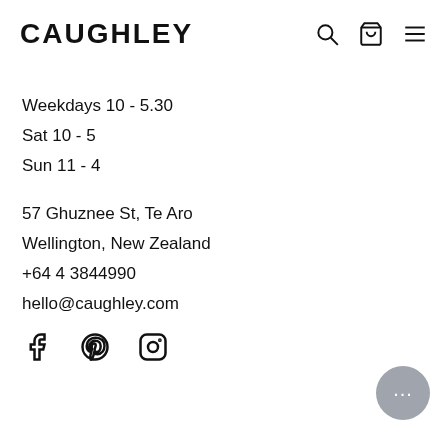CAUGHLEY
Weekdays 10 - 5.30
Sat 10 - 5
Sun 11 - 4
57 Ghuznee St, Te Aro
​Wellington, New Zealand
+64 4 3844990
hello@caughley.com
[Figure (other): Social media icons: Facebook, Pinterest, Instagram]